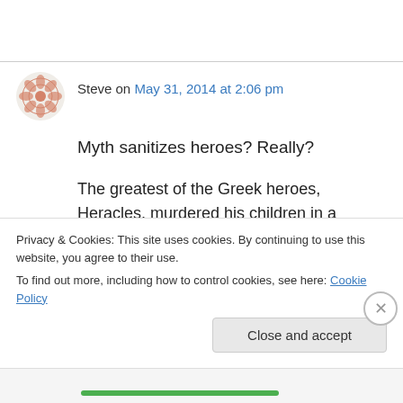[Figure (logo): Decorative avatar icon with geometric floral pattern in salmon/coral color]
Steve on May 31, 2014 at 2:06 pm
Myth sanitizes heroes? Really?
The greatest of the Greek heroes, Heracles, murdered his children in a jealous rage. Jason was a thief (his great quest was to steal the Golden Fleece for his own personal advancement) and when it suited his purposes he ditched his wife, the mother of his children
Privacy & Cookies: This site uses cookies. By continuing to use this website, you agree to their use.
To find out more, including how to control cookies, see here: Cookie Policy
Close and accept